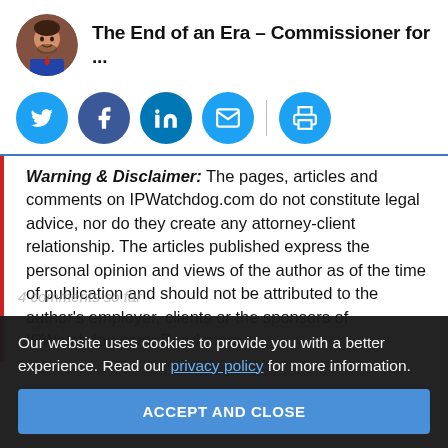The End of an Era – Commissioner for ...
[Figure (illustration): Round avatar photo of a man in a suit with a brick wall background]
[Figure (infographic): Social media sharing buttons: Twitter, Facebook, LinkedIn, Email, Print]
Warning & Disclaimer: The pages, articles and comments on IPWatchdog.com do not constitute legal advice, nor do they create any attorney-client relationship. The articles published express the personal opinion and views of the author as of the time of publication and should not be attributed to the author's employer, clients or the sponsors of IPWatchdog.com. Read more.
Our website uses cookies to provide you with a better experience. Read our privacy policy for more information.
ACCEPT AND CLOSE